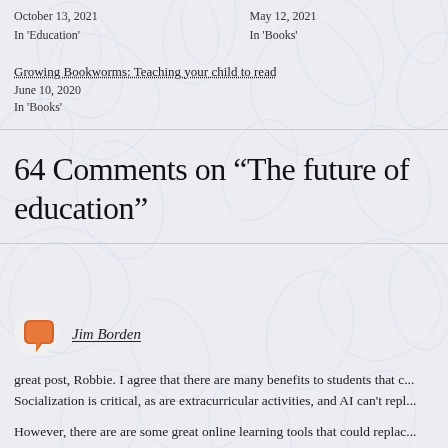October 13, 2021
In 'Education'
May 12, 2021
In 'Books'
Growing Bookworms: Teaching your child to read
June 10, 2020
In 'Books'
64 Comments on “The future of education”
Jim Borden
great post, Robbie. I agree that there are many benefits to students that c... Socialization is critical, as are extracurricular activities, and AI can't repl...
However, there are are some great online learning tools that could replac... teaching. Such tools never get tired of going over and over the same lesso...